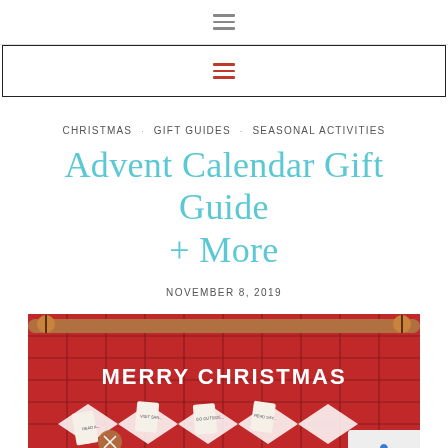≡
≡
CHRISTMAS · GIFT GUIDES · SEASONAL ACTIVITIES
Advent Calendar Gift Guide + More
NOVEMBER 8, 2019
[Figure (photo): A red knitted advent calendar wall hanging with 'MERRY CHRISTMAS' text, wooden bead hangers, and multiple small pockets containing activity cards. Various white cards are visible in the pockets.]